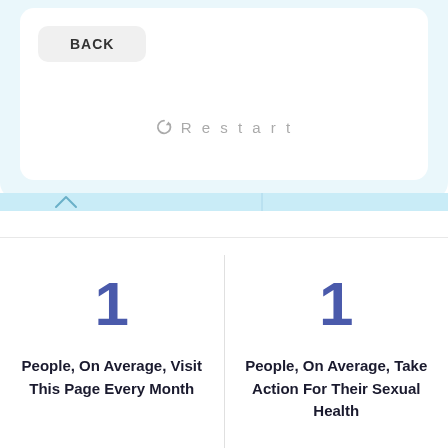BACK
Restart
1
People, On Average, Visit This Page Every Month
1
People, On Average, Take Action For Their Sexual Health